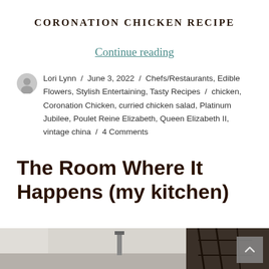CORONATION CHICKEN RECIPE
Continue reading
Lori Lynn / June 3, 2022 / Chefs/Restaurants, Edible Flowers, Stylish Entertaining, Tasty Recipes / chicken, Coronation Chicken, curried chicken salad, Platinum Jubilee, Poulet Reine Elizabeth, Queen Elizabeth II, vintage china / 4 Comments
The Room Where It Happens (my kitchen)
[Figure (photo): Partial view of a kitchen interior, bottom strip of the page]